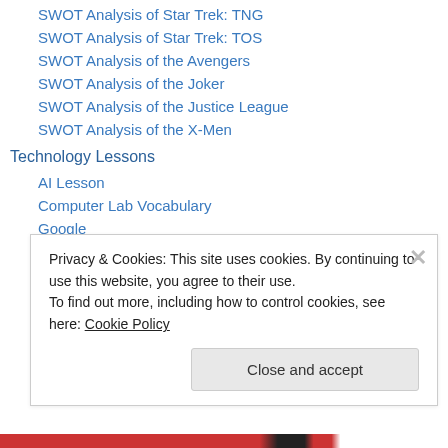SWOT Analysis of Star Trek: TNG
SWOT Analysis of Star Trek: TOS
SWOT Analysis of the Avengers
SWOT Analysis of the Joker
SWOT Analysis of the Justice League
SWOT Analysis of the X-Men
Technology Lessons
AI Lesson
Computer Lab Vocabulary
Google
Google Charts Tutorial
Google Docs
Google Forms
Privacy & Cookies: This site uses cookies. By continuing to use this website, you agree to their use.
To find out more, including how to control cookies, see here: Cookie Policy